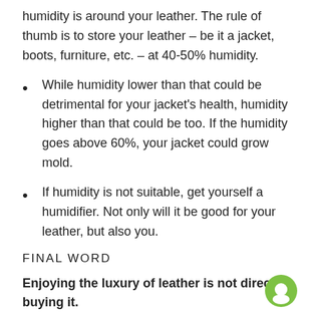humidity is around your leather. The rule of thumb is to store your leather – be it a jacket, boots, furniture, etc. – at 40-50% humidity.
While humidity lower than that could be detrimental for your jacket's health, humidity higher than that could be too. If the humidity goes above 60%, your jacket could grow mold.
If humidity is not suitable, get yourself a humidifier. Not only will it be good for your leather, but also you.
FINAL WORD
Enjoying the luxury of leather is not directly buying it.
Leather deserves all the respect you can give it, and it